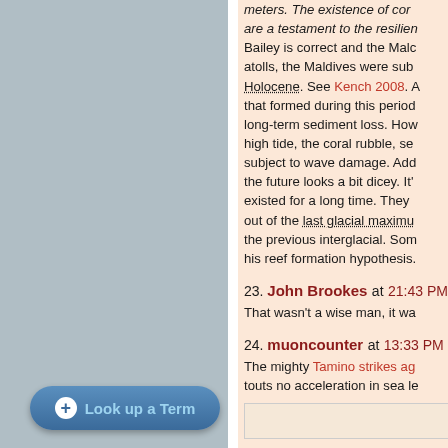meters. The existence of cor... are a testament to the resilien... Bailey is correct and the Mald... atolls, the Maldives were subj... Holocene. See Kench 2008. A... that formed during this period... long-term sediment loss. How... high tide, the coral rubble, se... subject to wave damage. Add... the future looks a bit dicey. It'... existed for a long time. They ... out of the last glacial maximu... the previous interglacial. Som... his reef formation hypothesis.
23. John Brookes at 21:43 PM
That wasn't a wise man, it wa...
24. muoncounter at 13:33 PM
The mighty Tamino strikes ag... touts no acceleration in sea le...